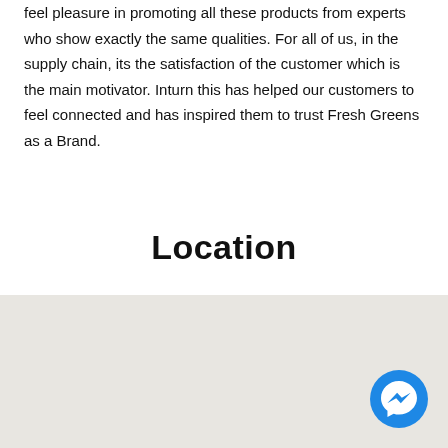feel pleasure in promoting all these products from experts who show exactly the same qualities. For all of us, in the supply chain, its the satisfaction of the customer which is the main motivator. Inturn this has helped our customers to feel connected and has inspired them to trust Fresh Greens as a Brand.
Location
[Figure (map): A light grey map area with a Facebook Messenger chat button in the bottom right corner]